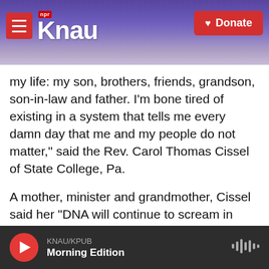KNAU NPR - Donate
my life: my son, brothers, friends, grandson, son-in-law and father. I'm bone tired of existing in a system that tells me every damn day that me and my people do not matter," said the Rev. Carol Thomas Cissel of State College, Pa.
A mother, minister and grandmother, Cissel said her "DNA will continue to scream in agony" because black men and boys are not safe in America.
"I will try to hold the pain and soul wounds of my people. I will mourn because I know wishes, words
KNAU/KPUB Morning Edition